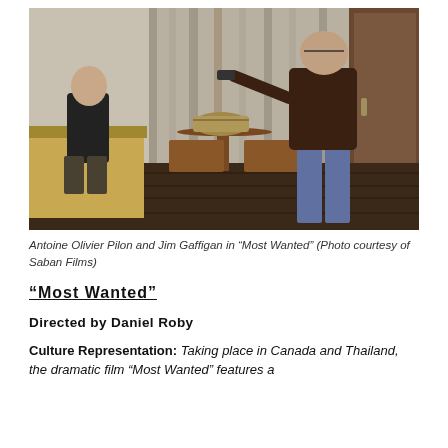[Figure (photo): A motel room scene with a young man sitting on the edge of a bed on the left, and a heavier man in a dark brown shirt pointing a gun at him on the right. Between them is a small round table with chairs and a bag on top. Curtains are visible in the background.]
Antoine Olivier Pilon and Jim Gaffigan in “Most Wanted” (Photo courtesy of Saban Films)
“Most Wanted”
Directed by Daniel Roby
Culture Representation: Taking place in Canada and Thailand, the dramatic film “Most Wanted” features a